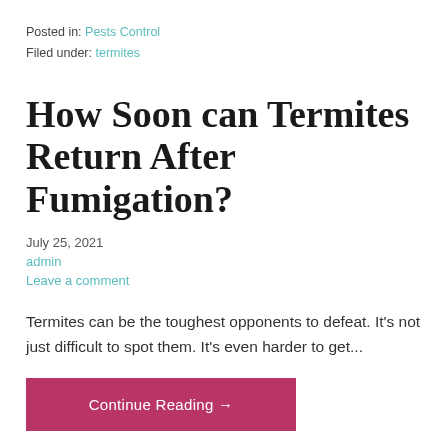Posted in: Pests Control
Filed under: termites
How Soon can Termites Return After Fumigation?
July 25, 2021
admin
Leave a comment
Termites can be the toughest opponents to defeat. It's not just difficult to spot them. It's even harder to get...
Continue Reading →